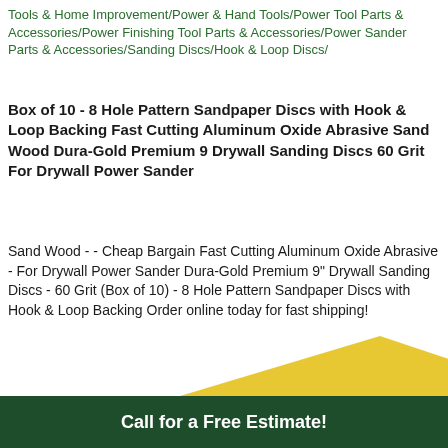Tools & Home Improvement/Power & Hand Tools/Power Tool Parts & Accessories/Power Finishing Tool Parts & Accessories/Power Sander Parts & Accessories/Sanding Discs/Hook & Loop Discs/
Box of 10 - 8 Hole Pattern Sandpaper Discs with Hook & Loop Backing Fast Cutting Aluminum Oxide Abrasive Sand Wood Dura-Gold Premium 9 Drywall Sanding Discs 60 Grit For Drywall Power Sander
Sand Wood - - Cheap Bargain Fast Cutting Aluminum Oxide Abrasive - For Drywall Power Sander Dura-Gold Premium 9" Drywall Sanding Discs - 60 Grit (Box of 10) - 8 Hole Pattern Sandpaper Discs with Hook & Loop Backing Order online today for fast shipping!
[Figure (illustration): Yellow triangular/chevron shape decorative graphic above the footer bar]
Call for a Free Estimate!